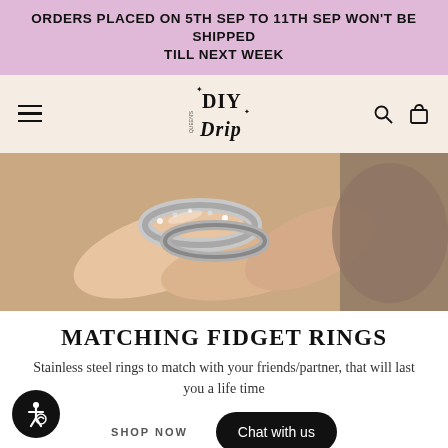ORDERS PLACED ON 5TH SEP TO 11TH SEP WON'T BE SHIPPED TILL NEXT WEEK
[Figure (logo): DIY Drip brand logo with sparkle accents, displayed in navigation bar on cream/beige background with hamburger menu, search and cart icons]
[Figure (photo): Close-up photo of hands holding silver fidget/spinner rings with textured metallic finish]
MATCHING FIDGET RINGS
Stainless steel rings to match with your friends/partner, that will last you a life time
SHOP NOW
Chat with us